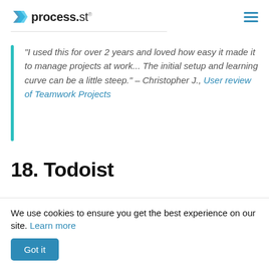process.st
“I used this for over 2 years and loved how easy it made it to manage projects at work... The initial setup and learning curve can be a little steep.” – Christopher J., User review of Teamwork Projects
18. Todoist
We use cookies to ensure you get the best experience on our site. Learn more